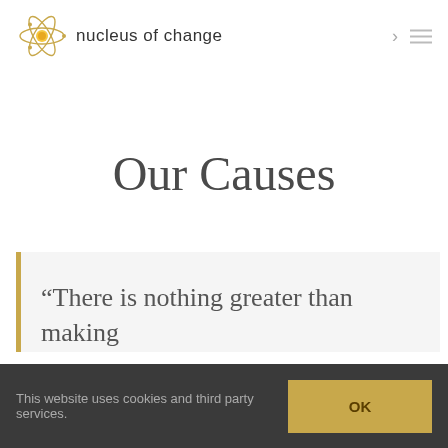nucleus of change
Our Causes
“There is nothing greater than making
This website uses cookies and third party services.  OK